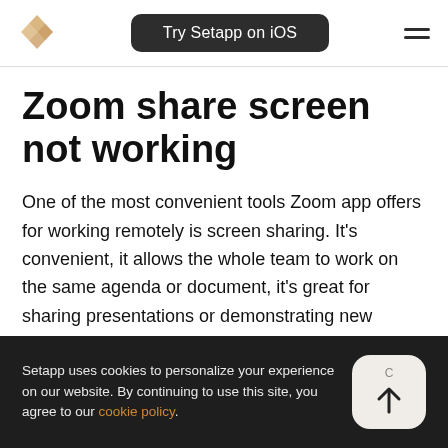Try Setapp on iOS
Zoom share screen not working
One of the most convenient tools Zoom app offers for working remotely is screen sharing. It's convenient, it allows the whole team to work on the same agenda or document, it's great for sharing presentations or demonstrating new
Setapp uses cookies to personalize your experience on our website. By continuing to use this site, you agree to our cookie policy.